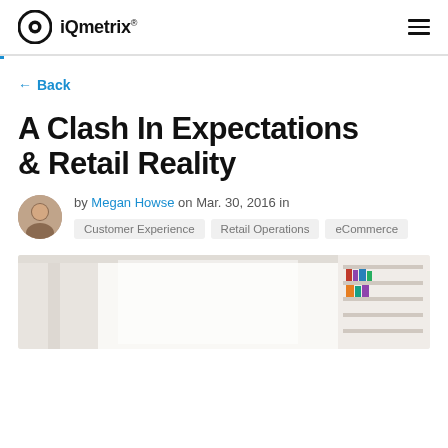iQmetrix
← Back
A Clash In Expectations & Retail Reality
by Megan Howse on Mar. 30, 2016 in Customer Experience  Retail Operations  eCommerce
[Figure (photo): Hero image showing a bright indoor scene with curtains and bookshelves in the background]